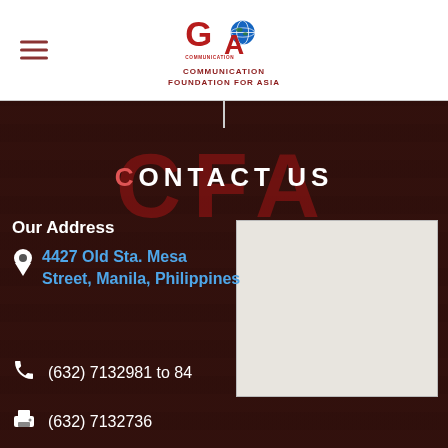CFA - Communication Foundation for Asia
CONTACT US
Our Address
4427 Old Sta. Mesa Street, Manila, Philippines
[Figure (map): Map placeholder showing location of CFA office in Manila, Philippines]
(632) 7132981 to 84
(632) 7132736